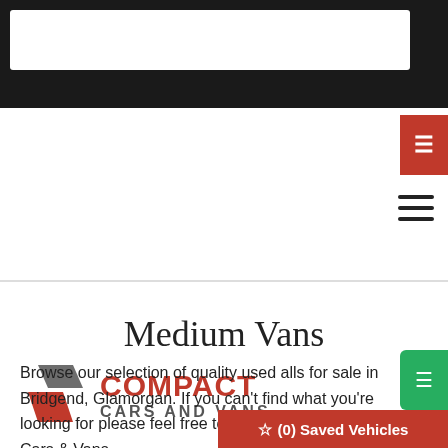Compact Cars and Vans
Medium Vans
Browse our selection of quality used alls for sale in Bridgend, Glamorgan. If you can't find what you're looking for please feel free to contact Compact Cars & Vans.